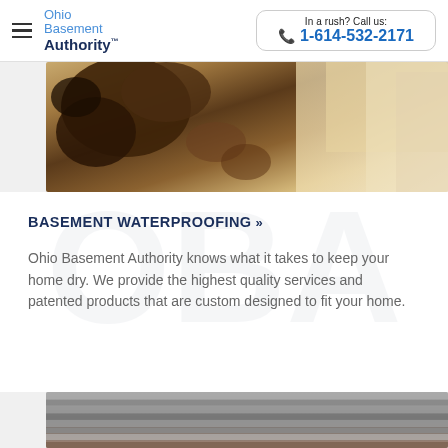Ohio Basement Authority — In a rush? Call us: 1-614-532-2171
[Figure (photo): Close-up photo of dirt and soil excavation, showing chunks of brown earth and soil in a basement waterproofing context]
BASEMENT WATERPROOFING »
Ohio Basement Authority knows what it takes to keep your home dry. We provide the highest quality services and patented products that are custom designed to fit your home.
[Figure (photo): Photo of metal wall paneling or drainage matting system installed in a basement, showing horizontal gray metallic strips against a concrete block wall]